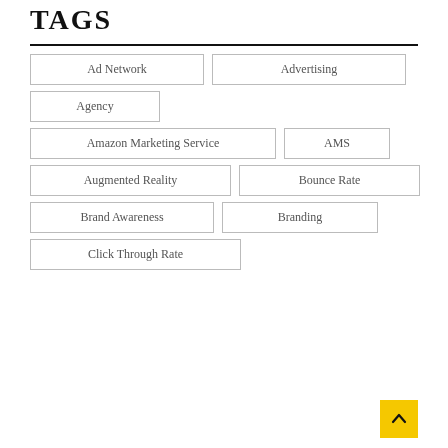TAGS
Ad Network
Advertising
Agency
Amazon Marketing Service
AMS
Augmented Reality
Bounce Rate
Brand Awareness
Branding
Click Through Rate